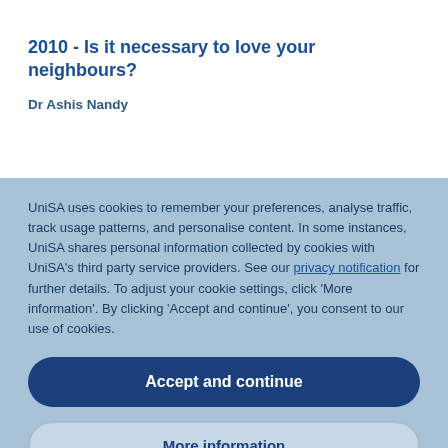2010 - Is it necessary to love your neighbours?
Dr Ashis Nandy
UniSA uses cookies to remember your preferences, analyse traffic, track usage patterns, and personalise content. In some instances, UniSA shares personal information collected by cookies with UniSA's third party service providers. See our privacy notification for further details. To adjust your cookie settings, click 'More information'. By clicking 'Accept and continue', you consent to our use of cookies.
Accept and continue
More information